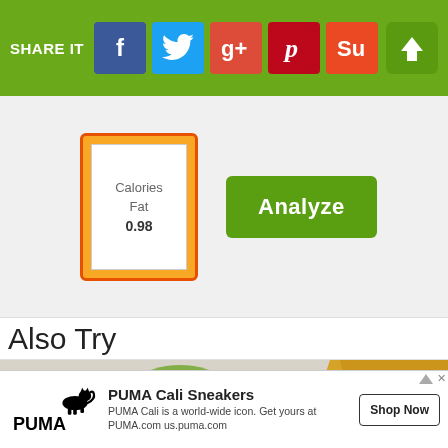[Figure (screenshot): Green navigation/share bar with SHARE IT label and social media buttons: Facebook (blue), Twitter (blue), Google+ (red), Pinterest (red), StumbleUpon (orange-red), and an upload/share arrow button on the right]
[Figure (infographic): Nutrition analysis widget showing a nutrition label card with 'Calories', 'Fat', '0.98' text on an orange card, alongside a green 'Analyze' button]
Also Try
[Figure (photo): Food photo showing a Mexican-style dish with melted cheese, beans, avocado/guacamole, sour cream, and tortilla chips on a white plate]
[Figure (infographic): Advertisement for PUMA Cali Sneakers with PUMA logo, text 'PUMA Cali Sneakers', 'PUMA Cali is a world-wide icon. Get yours at PUMA.com us.puma.com', and a 'Shop Now' button]